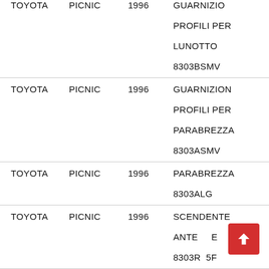| MAKE | MODEL | YEAR | DESCRIPTION |
| --- | --- | --- | --- |
| TOYOTA | PICNIC | 1996 | GUARNIZIONE PROFILI PER LUNOTTO 8303BSMV |
| TOYOTA | PICNIC | 1996 | GUARNIZIONE PROFILI PER PARABREZZA 8303ASMV |
| TOYOTA | PICNIC | 1996 | PARABREZZA 8303ALG |
| TOYOTA | PICNIC | 1996 | SCENDENTE ANTERIORE 8303R...5F... |